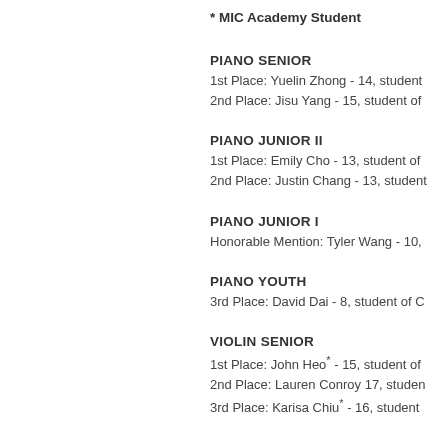* MIC Academy Student
PIANO SENIOR
1st Place: Yuelin Zhong - 14, student
2nd Place: Jisu Yang - 15, student of
PIANO JUNIOR II
1st Place: Emily Cho - 13, student of
2nd Place: Justin Chang - 13, student
PIANO JUNIOR I
Honorable Mention: Tyler Wang - 10,
PIANO YOUTH
3rd Place: David Dai - 8, student of C
VIOLIN SENIOR
1st Place: John Heo* - 15, student of
2nd Place: Lauren Conroy 17, studen
3rd Place: Karisa Chiu* - 16, student